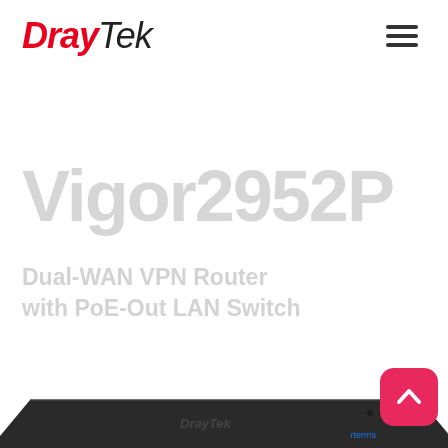DrayTek
Vigor2952P
Dual-WAN VPN Router with PoE-Out LAN Switch
[Figure (photo): DrayTek Vigor2952P router device shown in partial view at the bottom of the page, dark colored hardware unit]
[Figure (other): Pink/red rounded square scroll-to-top button with white chevron arrow icon in bottom right corner]